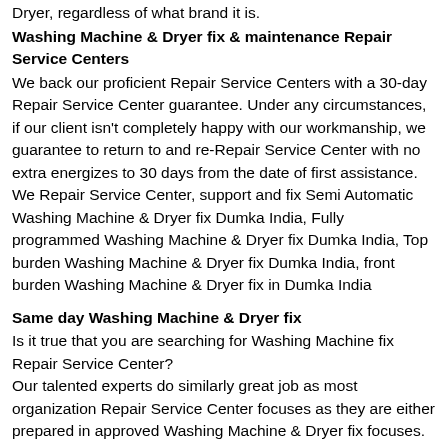Dryer, regardless of what brand it is.
Washing Machine & Dryer fix & maintenance Repair Service Centers
We back our proficient Repair Service Centers with a 30-day Repair Service Center guarantee. Under any circumstances, if our client isn't completely happy with our workmanship, we guarantee to return to and re-Repair Service Center with no extra energizes to 30 days from the date of first assistance. We Repair Service Center, support and fix Semi Automatic Washing Machine & Dryer fix Dumka India, Fully programmed Washing Machine & Dryer fix Dumka India, Top burden Washing Machine & Dryer fix Dumka India, front burden Washing Machine & Dryer fix in Dumka India
Same day Washing Machine & Dryer fix
Is it true that you are searching for Washing Machine fix Repair Service Center?
Our talented experts do similarly great job as most organization Repair Service Center focuses as they are either prepared in approved Washing Machine & Dryer fix focuses. Fortunately our rates are a lot of lower than